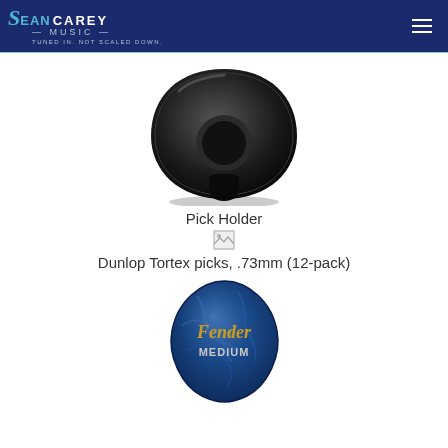Sean Carey Music — Tuned in. Not scaled down.
[Figure (photo): Black guitar pick holder, triangular shape with finger grip cutout]
Pick Holder
[Figure (photo): Broken/missing image placeholder icon]
Dunlop Tortex picks, .73mm (12-pack)
[Figure (photo): Blue marble Fender medium guitar pick with gold Fender logo and MEDIUM text]